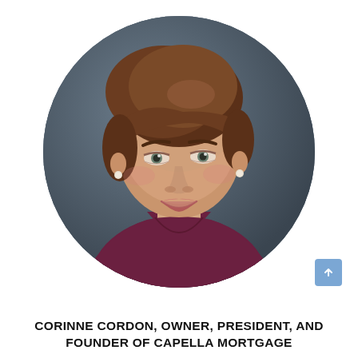[Figure (photo): Circular cropped professional headshot portrait of a woman with short brown hair, wearing a dark purple/maroon top and pearl necklace/earrings, smiling, against a dark gray background.]
CORINNE CORDON, OWNER, PRESIDENT, AND FOUNDER OF CAPELLA MORTGAGE